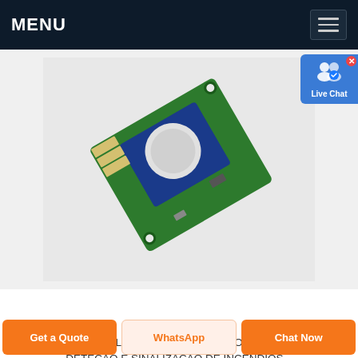MENU
[Figure (photo): Electronic sensor module with a blue component and green PCB board, photographed at an angle against a light grey background.]
CAPÍTULO 4 – SISTEMAS DE C...
CAPÍTULO 4 – SISTEMAS DE COMBATE, DETEÇÃO E SINALIZAÇÃO DE INCÊNDIOS – REDE DE HIDRANTES – Definição É um
Get a Quote | WhatsApp | Chat Now